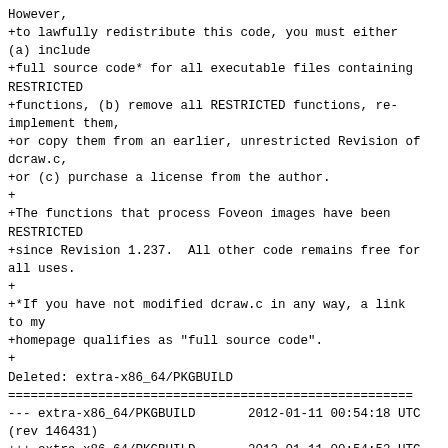However,
+to lawfully redistribute this code, you must either (a) include
+full source code* for all executable files containing RESTRICTED
+functions, (b) remove all RESTRICTED functions, re-implement them,
+or copy them from an earlier, unrestricted Revision of dcraw.c,
+or (c) purchase a license from the author.
+
+The functions that process Foveon images have been RESTRICTED
+since Revision 1.237.  All other code remains free for all uses.
+
+*If you have not modified dcraw.c in any way, a link to my
+homepage qualifies as "full source code".
+
Deleted: extra-x86_64/PKGBUILD
======================================================================
--- extra-x86_64/PKGBUILD       2012-01-11 00:54:18 UTC (rev 146431)
+++ extra-x86_64/PKGBUILD       2012-01-11 00:54:52 UTC (rev 146432)
@@ -1,48 +0,0 @@
-# $Id$
-# Maintainer: tobias <tobias at archlinux.org>